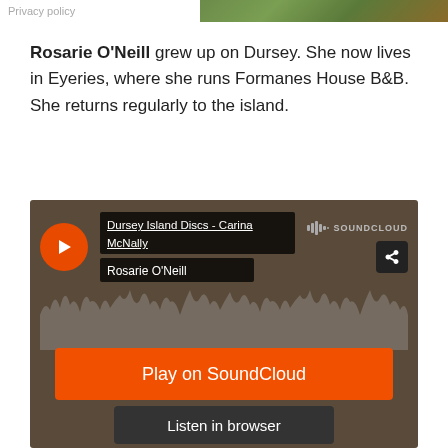Privacy policy
Rosarie O'Neill grew up on Dursey. She now lives in Eyeries, where she runs Formanes House B&B. She returns regularly to the island.
[Figure (screenshot): SoundCloud embedded player widget showing 'Dursey Island Discs - Carina McNally' track by Rosarie O'Neill, with play button, SoundCloud logo, 'Play on SoundCloud' orange button, and 'Listen in browser' dark button.]